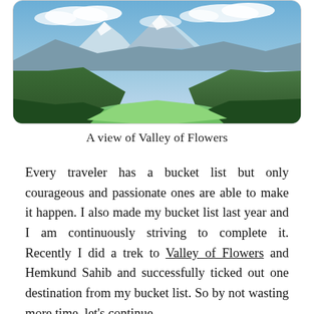[Figure (photo): Scenic mountain valley view with green slopes, forested hillsides, a winding valley floor, and blue sky with clouds — Valley of Flowers, India]
A view of Valley of Flowers
Every traveler has a bucket list but only courageous and passionate ones are able to make it happen. I also made my bucket list last year and I am continuously striving to complete it. Recently I did a trek to Valley of Flowers and Hemkund Sahib and successfully ticked out one destination from my bucket list. So by not wasting more time, let's continue